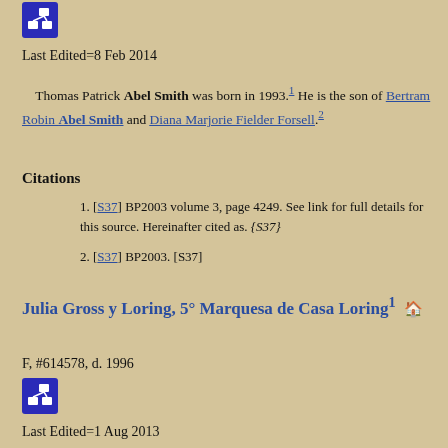[Figure (other): Blue icon button with network/hierarchy symbol]
Last Edited=8 Feb 2014
Thomas Patrick Abel Smith was born in 1993.1 He is the son of Bertram Robin Abel Smith and Diana Marjorie Fielder Forsell.2
Citations
1. [S37] BP2003 volume 3, page 4249. See link for full details for this source. Hereinafter cited as. {S37}
2. [S37] BP2003. [S37]
Julia Gross y Loring, 5° Marquesa de Casa Loring1
F, #614578, d. 1996
[Figure (other): Blue icon button with network/hierarchy symbol]
Last Edited=1 Aug 2013